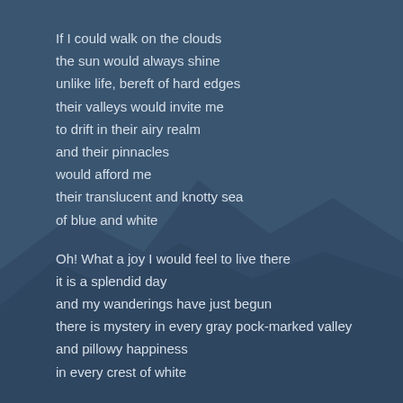If I could walk on the clouds
the sun would always shine
unlike life, bereft of hard edges
their valleys would invite me
to drift in their airy realm
and their pinnacles
would afford me
their translucent and knotty sea
of blue and white

Oh! What a joy I would feel to live there
it is a splendid day
and my wanderings have just begun
there is mystery in every gray pock-marked valley
and pillowy happiness
in every crest of white

I cannot see my own life
beneath this happy, heavenly spectacle
where I scurry to accomplishment
where colored, withered leaves frolic